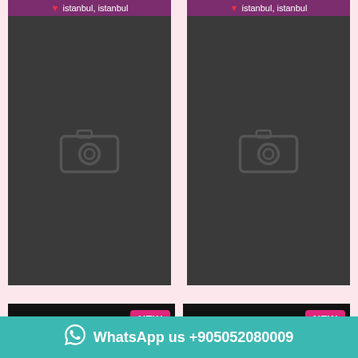[Figure (screenshot): Mobile app listing card - left top, showing camera placeholder image with purple header showing pin icon and 'istanbul, istanbul' location text]
[Figure (screenshot): Mobile app listing card - right top, showing camera placeholder image with purple header showing pin icon and 'istanbul, istanbul' location text]
[Figure (screenshot): Mobile app listing card - bottom left, showing NEW badge and username 'annalisti' on purple background]
[Figure (screenshot): Mobile app listing card - bottom right, showing NEW badge and username 'bellamassagista' on purple background]
WhatsApp us +905052080009